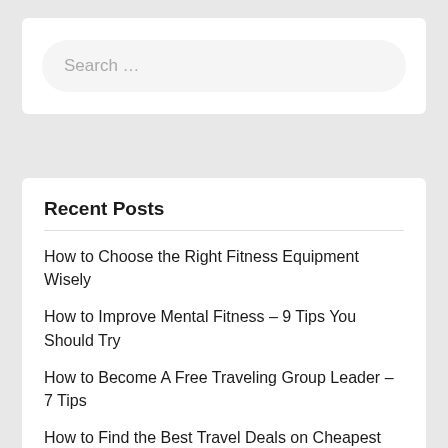[Figure (screenshot): Search input field with placeholder text 'Search ...' inside a white card on a light grey background]
Recent Posts
How to Choose the Right Fitness Equipment Wisely
How to Improve Mental Fitness – 9 Tips You Should Try
How to Become A Free Traveling Group Leader – 7 Tips
How to Find the Best Travel Deals on Cheapest Airline Tickets